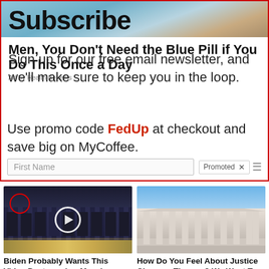[Figure (screenshot): Subscribe newsletter ad overlay with blue pill background photo and red border. Contains overlapping ad for 'Men, You Don't Need the Blue Pill if You Do This Once a Day' by Health Benefits, plus newsletter signup with promo code FedUp for MyCoffee, First Name input field, and Promoted label.]
Subscribe
Men, You Don't Need the Blue Pill if You Do This Once a Day
Ad by Health Benefits
Sign up for our free email newsletter, and we'll make sure to keep you in the loop.
Use promo code FedUp at checkout and save big on MyCoffee.
First Name
Promoted
[Figure (photo): Group of people in suits standing in front of CIA seal floor, with a red circle highlighting one person and a video play button overlay.]
Biden Probably Wants This Video Destroyed — Massive Currency Upheaval Has Started
247,148
[Figure (photo): Photo of the Supreme Court building exterior with columns under blue sky.]
How Do You Feel About Justice Clarence Thomas? We Want To Know